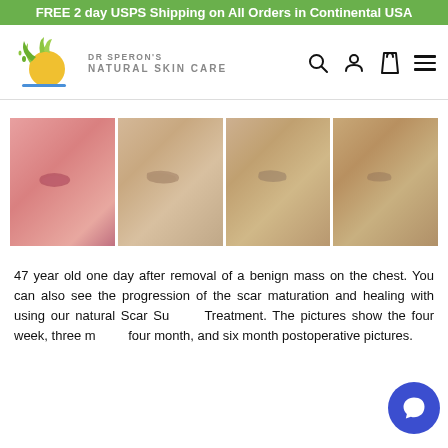FREE 2 day USPS Shipping on All Orders in Continental USA
[Figure (logo): Dr Speron's Natural Skin Care logo with plant/sun icon]
[Figure (photo): Four sequential photos showing scar healing progression on chest skin after benign mass removal at one day, four weeks, three months, four months, and six months postoperative]
47 year old one day after removal of a benign mass on the chest. You can also see the progression of the scar maturation and healing with using our natural Scar Support Treatment. The pictures show the four week, three month, four month, and six month postoperative pictures.